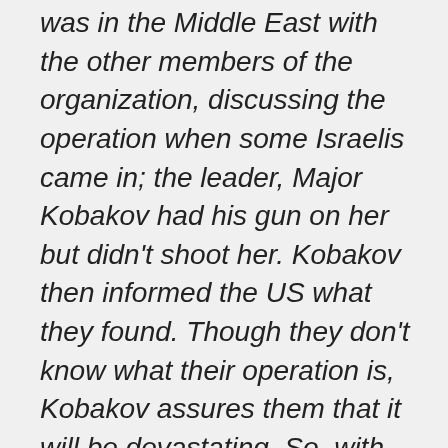was in the Middle East with the other members of the organization, discussing the operation when some Israelis came in; the leader, Major Kobakov had his gun on her but didn't shoot her. Kobakov then informed the US what they found. Though they don't know what their operation is, Kobakov assures them that it will be devastating. So, with FBI man, Corley, they try to find out what it is before it's too late. But they both have different ways of doing things, and since Kobakov is the visitor, he is warned to watch it. Dahlia's "partner in crime" is Michael Lander, a Vietnam P.O.W., who is psychologically scarred by that experience, thus making him very susceptible to her machinations.